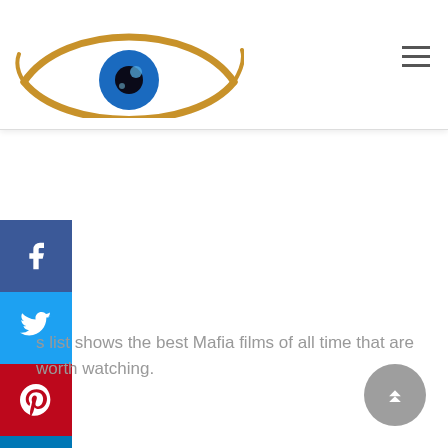[Figure (logo): Eye logo with gold swirling eyelid curves and a blue iris, on white background]
[Figure (other): Hamburger menu icon (three horizontal lines)]
[Figure (other): Social media sidebar with Facebook, Twitter, Pinterest, LinkedIn, Reddit, WhatsApp buttons]
s list shows the best Mafia films of all time that are worth watching.
[Figure (other): Scroll-to-top button, grey circle with double up-chevron]